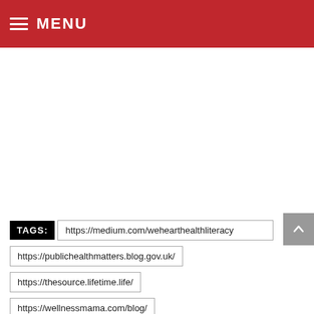MENU
TAGS: https://medium.com/wehearthealthliteracy
https://publichealthmatters.blog.gov.uk/
https://thesource.lifetime.life/
https://wellnessmama.com/blog/
https://...